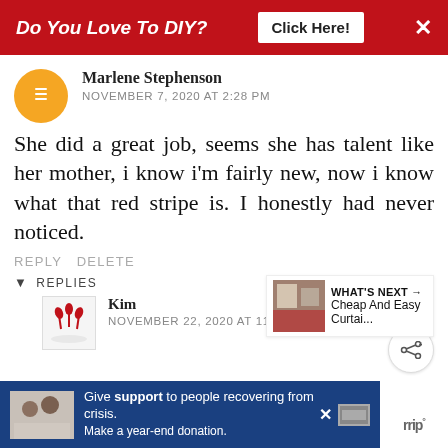[Figure (screenshot): Red banner ad: 'Do You Love To DIY?' with 'Click Here!' button and X close button]
Marlene Stephenson
NOVEMBER 7, 2020 AT 2:28 PM
She did a great job, seems she has talent like her mother, i know i'm fairly new, now i know what that red stripe is. I honestly had never noticed.
REPLY DELETE
REPLIES
Kim
NOVEMBER 22, 2020 AT 11:51 AM
[Figure (screenshot): What's Next widget showing thumbnail and text 'Cheap And Easy Curtai...']
[Figure (screenshot): Bottom ad banner: 'Give support to people recovering from crisis. Make a year-end donation.' with family photo]